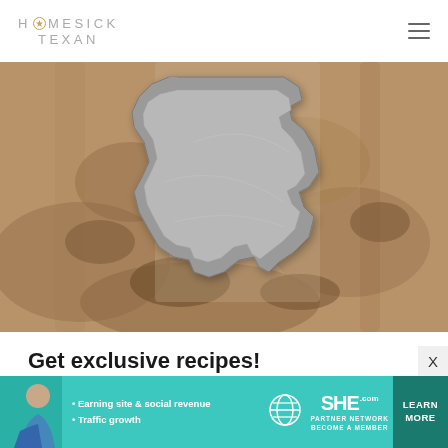HOMESICK TEXAN
[Figure (photo): A Texas-shaped metal cookie cutter or pan sitting on a wooden surface with brown marbled texture]
Get exclusive recipes!
If you enjoy reading and cooking from Homesick Texan, please consider supporting the site with a paid subscription. With your
[Figure (infographic): SHE Partner Network advertisement banner with a woman, bullet points 'Earning site & social revenue' and 'Traffic growth', SHE logo, PARTNER NETWORK BECOME A MEMBER tagline, and a teal LEARN MORE button]